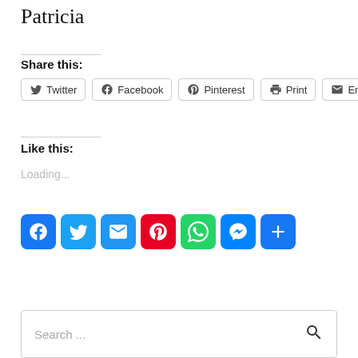Patricia
Share this:
[Figure (infographic): Share buttons row: Twitter, Facebook, Pinterest, Print, Email]
Like this:
Loading...
[Figure (infographic): Social media icon buttons: Facebook, Twitter, Email, Pinterest, WhatsApp, Messenger, Share/More]
[Figure (infographic): Search box with placeholder text 'Search ...' and a search magnifying glass icon]